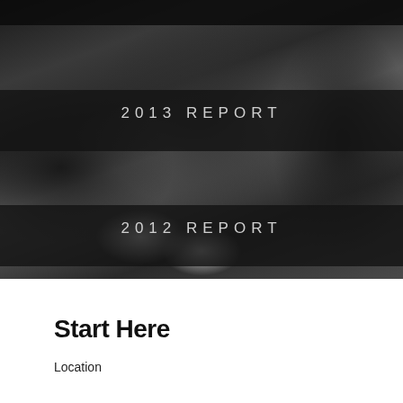[Figure (photo): Black and white photograph showing dark fabric or foliage with a white flower visible in the lower portion. Two dark semi-transparent banner bars overlay the image with report year labels.]
2013 REPORT
2012 REPORT
Start Here
Location